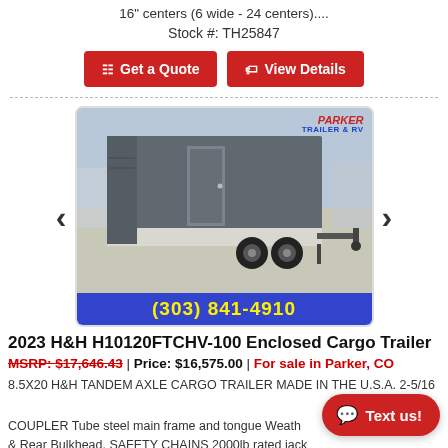16" centers (6 wide - 24 centers)....
Stock #: TH25847
Get a Quote | View Details
[Figure (photo): Photo of a 2023 H&H enclosed cargo trailer (charcoal gray, tandem axle) with Parker Trailer & RV logo and phone number (303) 841-4910]
2023 H&H H10120FTCHV-100 Enclosed Cargo Trailer
MSRP: $17,646.43 | Price: $16,575.00 | For sale in Parker, CO
8.5X20 H&H TANDEM AXLE CARGO TRAILER MADE IN THE U.S.A. 2-5/16 COUPLER Tube steel main frame and tongue Weather & Rear Bulkhead. SAFETY CHAINS 2000lb rated jack rock guard with trim Aluminum teardrop fenders Full wall uprights 24" centers Formed channel steel cross-members on wall uprights 24" centers Formed channel steel cross-members on